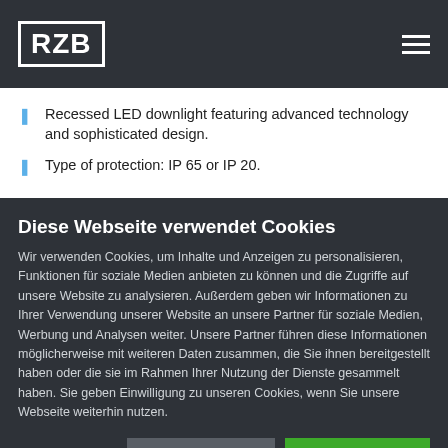[Figure (logo): RZB logo in white text with border, on dark grey header background with hamburger menu icon on the right]
Recessed LED downlight featuring advanced technology and sophisticated design.
Type of protection: IP 65 or IP 20.
Diese Webseite verwendet Cookies
Wir verwenden Cookies, um Inhalte und Anzeigen zu personalisieren, Funktionen für soziale Medien anbieten zu können und die Zugriffe auf unsere Website zu analysieren. Außerdem geben wir Informationen zu Ihrer Verwendung unserer Website an unsere Partner für soziale Medien, Werbung und Analysen weiter. Unsere Partner führen diese Informationen möglicherweise mit weiteren Daten zusammen, die Sie ihnen bereitgestellt haben oder die sie im Rahmen Ihrer Nutzung der Dienste gesammelt haben. Sie geben Einwilligung zu unseren Cookies, wenn Sie unsere Webseite weiterhin nutzen.
Auswahl erlauben
Cookies zulassen
Notwendig  Präferenzen  Statistiken  Marketing  Details zeigen